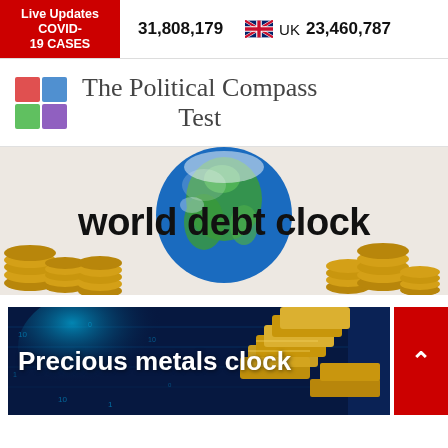Live Updates COVID-19 CASES  31,808,179  UK  23,460,787
[Figure (logo): The Political Compass Test logo with four-color quadrant square and serif text]
[Figure (illustration): World debt clock banner with globe and gold coins, text 'world debt clock']
[Figure (illustration): Precious metals clock banner with blue digital background and gold bars, text 'Precious metals clock']